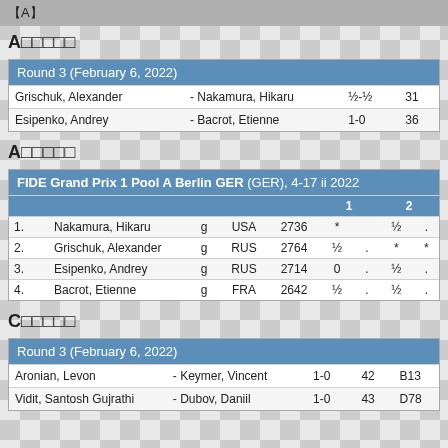【A】（chess tournament results page）
A（Pool A）
| Round 3 (February 6, 2022) |  |  |  |
| --- | --- | --- | --- |
| Grischuk, Alexander | - Nakamura, Hikaru | ½-½ | 31 |
| Esipenko, Andrey | - Bacrot, Etienne | 1-0 | 36 |
A（Pool A standings）
|  |  | g |  |  | 1 | 2 |
| --- | --- | --- | --- | --- | --- | --- |
| 1. | Nakamura, Hikaru | g | USA | 2736 | * | ½ |
| 2. | Grischuk, Alexander | g | RUS | 2764 | ½ | * |
| 3. | Esipenko, Andrey | g | RUS | 2714 | 0 | ½ |
| 4. | Bacrot, Etienne | g | FRA | 2642 | ½ | ½ |
C（Pool C）
| Round 3 (February 6, 2022) |  |  |  |  |
| --- | --- | --- | --- | --- |
| Aronian, Levon | - Keymer, Vincent | 1-0 | 42 | B13 |
| Vidit, Santosh Gujrathi | - Dubov, Daniil | 1-0 | 43 | D78 |